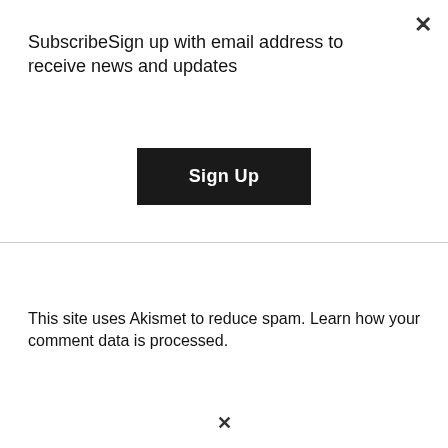SubscribeSign up with email address to receive news and updates
Sign Up
This site uses Akismet to reduce spam. Learn how your comment data is processed.